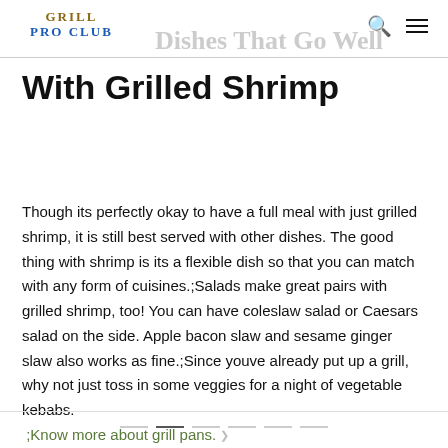GRILL PRO CLUB | Dishes That Go Well
With Grilled Shrimp
Though its perfectly okay to have a full meal with just grilled shrimp, it is still best served with other dishes. The good thing with shrimp is its a flexible dish so that you can match with any form of cuisines.;Salads make great pairs with grilled shrimp, too! You can have coleslaw salad or Caesars salad on the side. Apple bacon slaw and sesame ginger slaw also works as fine.;Since youve already put up a grill, why not just toss in some veggies for a night of vegetable kebabs. ;Know more about grill pans.